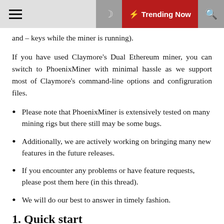☰  ☾  ⚡ Trending Now  🔍
and – keys while the miner is running).
If you have used Claymore's Dual Ethereum miner, you can switch to PhoenixMiner with minimal hassle as we support most of Claymore's command-line options and configruration files.
Please note that PhoenixMiner is extensively tested on many mining rigs but there still may be some bugs.
Additionally, we are actively working on bringing many new features in the future releases.
If you encounter any problems or have feature requests, please post them here (in this thread).
We will do our best to answer in timely fashion.
1. Quick start